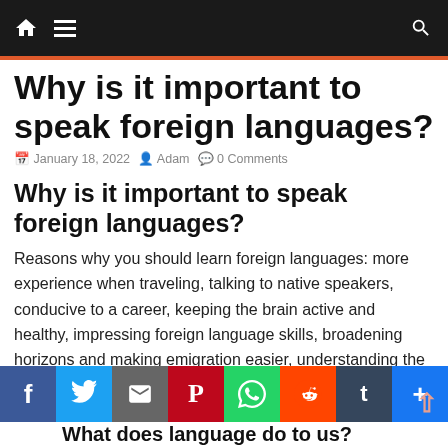Navigation bar with home, menu, and search icons
Why is it important to speak foreign languages?
January 18, 2022   Adam   0 Comments
Why is it important to speak foreign languages?
Reasons why you should learn foreign languages: more experience when traveling, talking to native speakers, conducive to a career, keeping the brain active and healthy, impressing foreign language skills, broadening horizons and making emigration easier, understanding the mother tongue better, promoting…
What does language do to us?